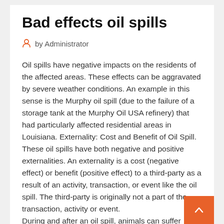Bad effects oil spills
by Administrator
Oil spills have negative impacts on the residents of the affected areas. These effects can be aggravated by severe weather conditions. An example in this sense is the Murphy oil spill (due to the failure of a storage tank at the Murphy Oil USA refinery) that had particularly affected residential areas in Louisiana. Externality: Cost and Benefit of Oil Spill. These oil spills have both negative and positive externalities. An externality is a cost (negative effect) or benefit (positive effect) to a third-party as a result of an activity, transaction, or event like the oil spill. The third-party is originally not a part of the transaction, activity or event.
During and after an oil spill, animals can suffer detrimental effects on their fur and feathers. For example, a seal pup's fur will break down, causing it to experience hypothermia. The same effect is responsible for the majority of bird deaths in oil